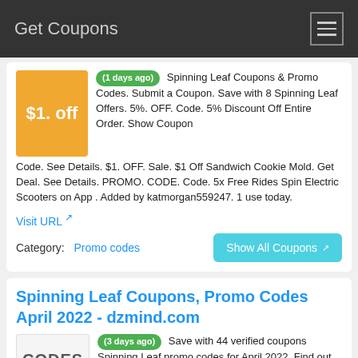Get Coupons
(1 days ago) Spinning Leaf Coupons & Promo Codes. Submit a Coupon. Save with 8 Spinning Leaf Offers. 5%. OFF. Code. 5% Discount Off Entire Order. Show Coupon Code. See Details. $1. OFF. Sale. $1 Off Sandwich Cookie Mold. Get Deal. See Details. PROMO. CODE. Code. 5x Free Rides Spin Electric Scooters on App . Added by katmorgan559247. 1 use today.
Visit URL
Category: Promo codes
Show All Coupons
Spinning Leaf Coupons, Promo Codes April 2022 - dzmind.com
(3 days ago) Save with 44 verified coupons Spinning Leaf promo codes for April 2022. Find out 44 Spinning Leaf coupons and